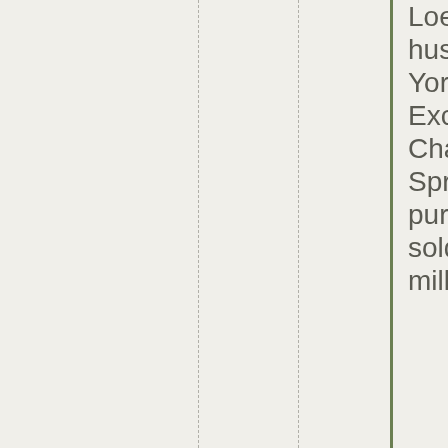Loeffler and her husband, New York Stock Exchange Chairman Jeffrey Sprecher, purchased and sold about $1.4 million in stocks